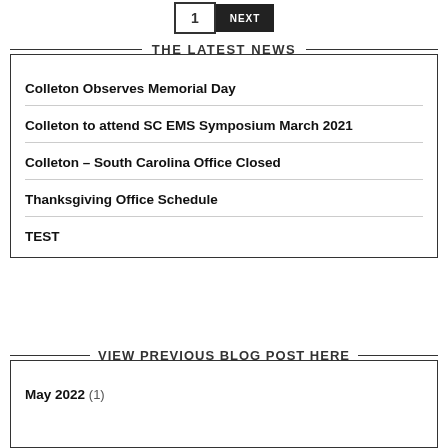[Figure (screenshot): Navigation buttons showing page 1 and a black Next button]
THE LATEST NEWS
Colleton Observes Memorial Day
Colleton to attend SC EMS Symposium March 2021
Colleton – South Carolina Office Closed
Thanksgiving Office Schedule
TEST
VIEW PREVIOUS BLOG POST HERE
May 2022 (1)